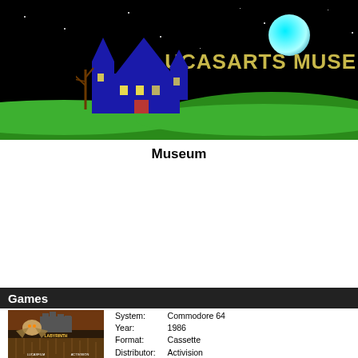[Figure (illustration): LucasArts Museum website header banner with a haunted house on green hills, a cyan moon, stars on a black night sky background, and yellow text reading LUCASARTS MUSE]
Museum
[Figure (illustration): UK Union Jack flag image]
Games
[Figure (photo): Labyrinth game box cover art for Commodore 64, showing a castle, an owl, and a maze scene]
| Field | Value |
| --- | --- |
| System: | Commodore 64 |
| Year: | 1986 |
| Format: | Cassette |
| Distributor: | Activision |
| UPC: | 04787544143 |
| Last Update: | Nov 12 2004 |
| Availability: | ●●● ○ ○ |
| Images: | 3 |